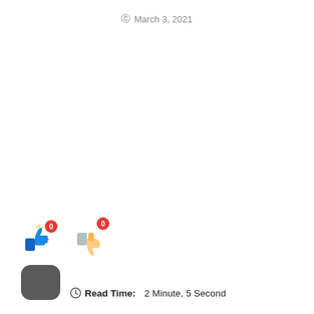March 3, 2021
[Figure (other): Thumbs up icon with red badge showing 0 and thumbs down icon with red badge showing 0, plus a dark rounded rectangle button below the thumbs up icon]
Read Time: 2 Minute, 5 Second